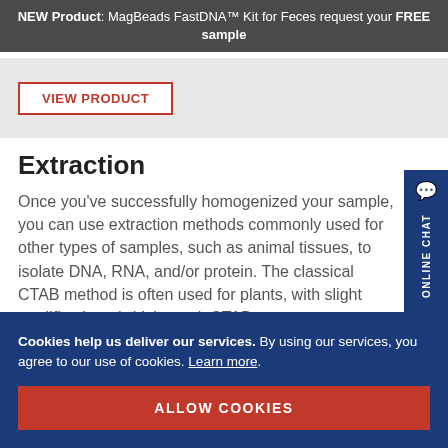NEW Product: MagBeads FastDNA™ Kit for Feces request your FREE sample
[Figure (screenshot): VIEW PRODUCT button on gray background]
Extraction
Once you've successfully homogenized your sample, you can use extraction methods commonly used for other types of samples, such as animal tissues, to isolate DNA, RNA, and/or protein. The classical CTAB method is often used for plants, with slight modifications (which result CTAB...
Cookies help us deliver our services. By using our services, you agree to our use of cookies. Learn more.
ALLOW COOKIES